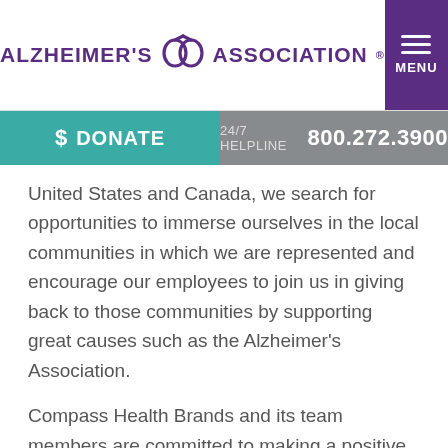[Figure (logo): Alzheimer's Association logo with purple text and brain/ribbon icon]
$ DONATE
24/7 HELPLINE 800.272.3900
United States and Canada, we search for opportunities to immerse ourselves in the local communities in which we are represented and encourage our employees to join us in giving back to those communities by supporting great causes such as the Alzheimer’s Association.
Compass Health Brands and its team members are committed to making a positive impact in all that we do. By forming a National Team in the Alzheimer’s Association Walk to End Alzheimer’s®, we look forward to extending that positive impact to the Association’s commitment to find the first